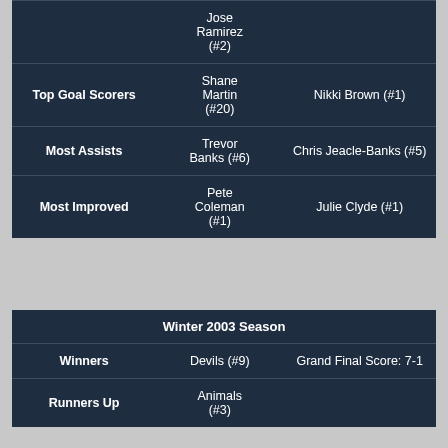|  |  |  |
| --- | --- | --- |
|  | Jose Ramirez (#2) |  |
| Top Goal Scorers | Shane Martin (#20) | Nikki Brown (#1) |
| Most Assists | Trevor Banks (#6) | Chris Jeacle-Banks (#5) |
| Most Improved | Pete Coleman (#1) | Julie Clyde (#1) |
| Winter 2003 Season |  |  |
| --- | --- | --- |
| Winners | Devils (#9) | Grand Final Score: 7-1 |
| Runners Up | Animals (#3) |  |